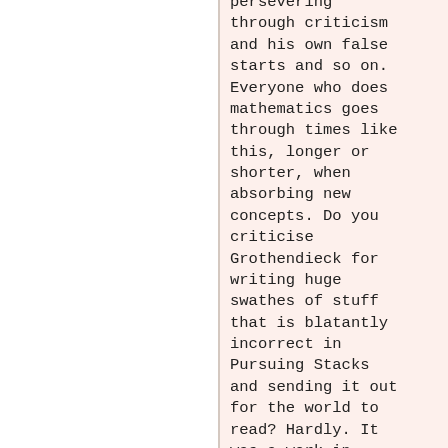persevering through criticism and his own false starts and so on. Everyone who does mathematics goes through times like this, longer or shorter, when absorbing new concepts. Do you criticise Grothendieck for writing huge swathes of stuff that is blatantly incorrect in Pursuing Stacks and sending it out for the world to read? Hardly. It was a work in progress. With the advent of tools like the nlab and this forum, the process of understanding and creating mathematics can be